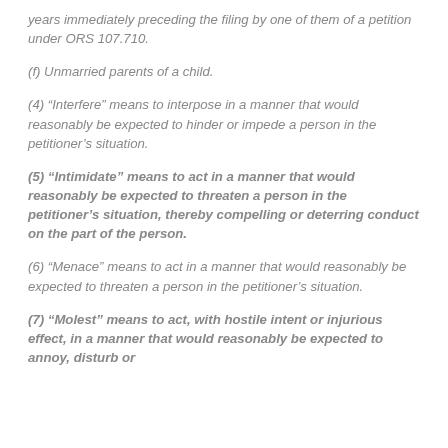years immediately preceding the filing by one of them of a petition under ORS 107.710.
(f) Unmarried parents of a child.
(4) “Interfere” means to interpose in a manner that would reasonably be expected to hinder or impede a person in the petitioner’s situation.
(5) “Intimidate” means to act in a manner that would reasonably be expected to threaten a person in the petitioner’s situation, thereby compelling or deterring conduct on the part of the person.
(6) “Menace” means to act in a manner that would reasonably be expected to threaten a person in the petitioner’s situation.
(7) “Molest” means to act, with hostile intent or injurious effect, in a manner that would reasonably be expected to annoy, disturb or